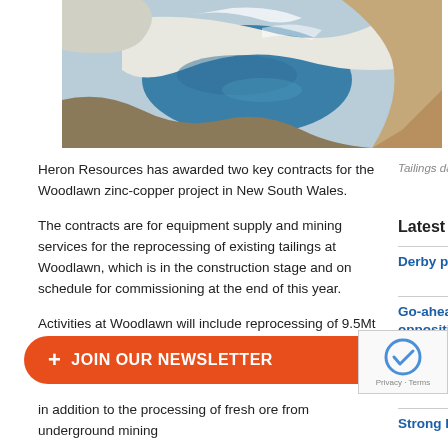[Figure (photo): Aerial view of tailings dams at Woodlawn mining site, showing blue water retention pond surrounded by white/grey mineral deposits and exposed earth, viewed from above.]
Heron Resources has awarded two key contracts for the Woodlawn zinc-copper project in New South Wales.
Tailings dams at Woodlawn. Image: Heron Resources.
The contracts are for equipment supply and mining services for the reprocessing of existing tailings at Woodlawn, which is in the construction stage and on schedule for commissioning at the end of this year.
Latest News
Derby port access agreement for KMS
Go-ahead for urea plant despite Indigenous opposition
Macmahon withstands challenges to post record income
Strong half helps boost Perenti ...s
Activities at Woodlawn will include reprocessing of 9.5Mt of
in addition to the processing of fresh ore from underground mining